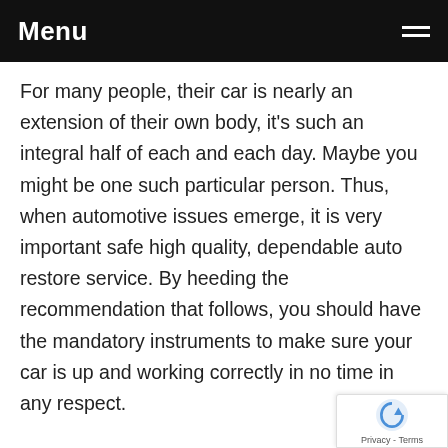Menu
For many people, their car is nearly an extension of their own body, it's such an integral half of each and each day. Maybe you might be one such particular person. Thus, when automotive issues emerge, it is very important safe high quality, dependable auto restore service. By heeding the recommendation that follows, you should have the mandatory instruments to make sure your car is up and working correctly in no time in any respect.
Checking and repairing the air conditioning in your automotive is sort of complex. If you might want to have it checked or fixed, find a mechanic with an air conditioning certification. The fuel used for air